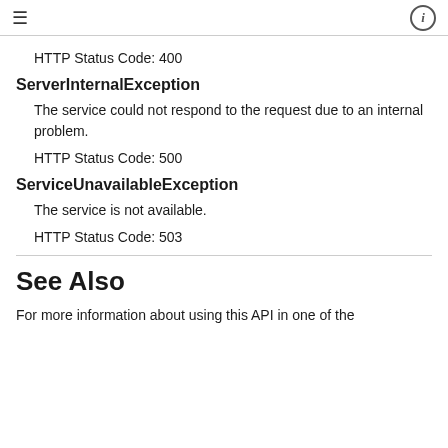≡  ⓘ
HTTP Status Code: 400
ServerInternalException
The service could not respond to the request due to an internal problem.
HTTP Status Code: 500
ServiceUnavailableException
The service is not available.
HTTP Status Code: 503
See Also
For more information about using this API in one of the